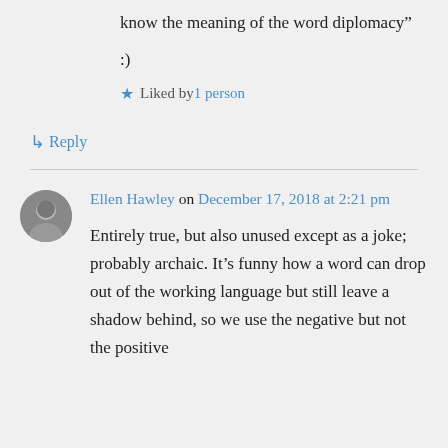know the meaning of the word diplomacy”
:)
★ Liked by 1 person
↳ Reply
Ellen Hawley on December 17, 2018 at 2:21 pm
Entirely true, but also unused except as a joke; probably archaic. It’s funny how a word can drop out of the working language but still leave a shadow behind, so we use the negative but not the positive